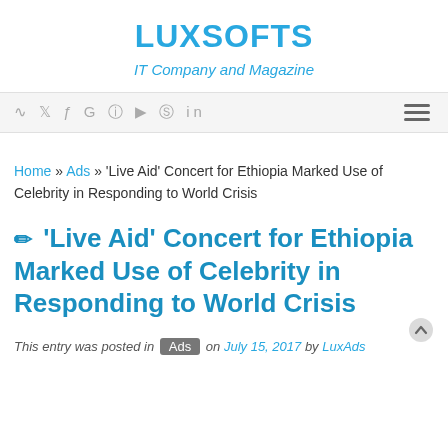LUXSOFTS
IT Company and Magazine
RSS Twitter Facebook Google Instagram YouTube Pinterest LinkedIn [hamburger menu]
Home » Ads » 'Live Aid' Concert for Ethiopia Marked Use of Celebrity in Responding to World Crisis
'Live Aid' Concert for Ethiopia Marked Use of Celebrity in Responding to World Crisis
This entry was posted in Ads on July 15, 2017 by LuxAds